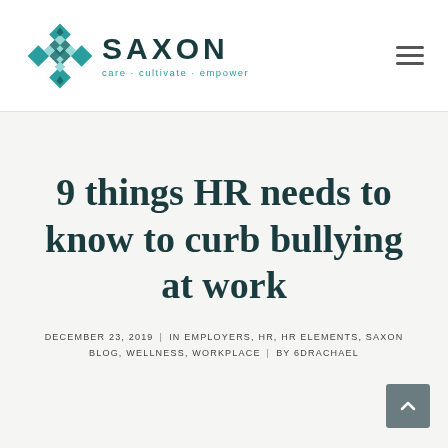[Figure (logo): Saxon logo with geometric teal diamond pattern and text 'SAXON care · cultivate · empower']
9 things HR needs to know to curb bullying at work
DECEMBER 23, 2019  |  IN EMPLOYERS, HR, HR ELEMENTS, SAXON BLOG, WELLNESS, WORKPLACE  |  BY 6DRACHAEL